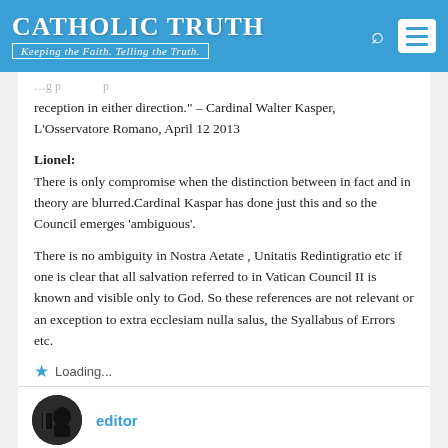Catholic Truth — Keeping the Faith. Telling the Truth.
reception in either direction." – Cardinal Walter Kasper, L'Osservatore Romano, April 12 2013
Lionel:
There is only compromise when the distinction between in fact and in theory are blurred.Cardinal Kaspar has done just this and so the Council emerges 'ambiguous'.
There is no ambiguity in Nostra Aetate , Unitatis Redintigratio etc if one is clear that all salvation referred to in Vatican Council II is known and visible only to God. So these references are not relevant or an exception to extra ecclesiam nulla salus, the Syallabus of Errors etc.
Loading...
June 10, 2014 at 2:09 pm
editor